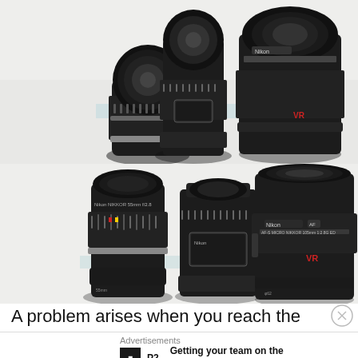[Figure (photo): Three black Nikon camera lenses of different sizes shown from above against a light background — top row]
[Figure (photo): Three black Nikon camera lenses of different sizes shown standing upright against a light background — bottom row]
A problem arises when you reach the minimum focus
Advertisements
Getting your team on the same page is easy. And free.